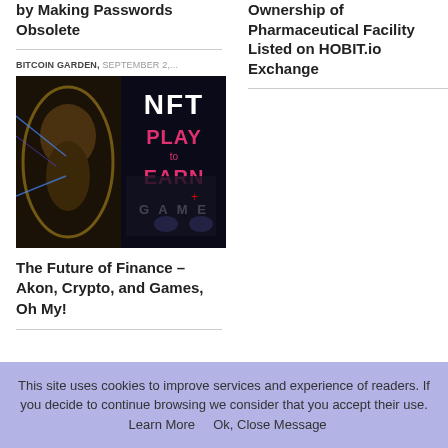by Making Passwords Obsolete
Ownership of Pharmaceutical Facility Listed on HOBIT.io Exchange
BITCOIN GARDEN, SEPTEMBER 2,...
[Figure (photo): NFT Play to Earn Game promotional image with a muscular character on the left and text NFT PLAY to EARN GAME on the right]
The Future of Finance – Akon, Crypto, and Games, Oh My!
This site uses cookies to improve services and experience of readers. If you decide to continue browsing we consider that you accept their use. Learn More   Ok, Close Message